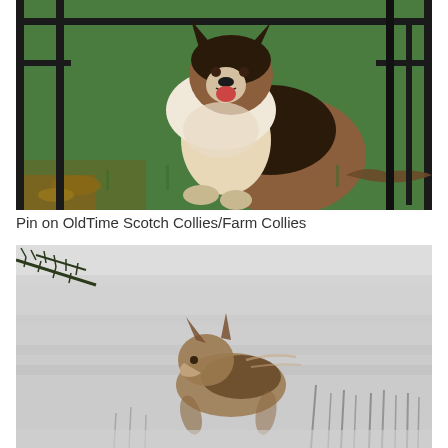[Figure (photo): A fluffy tricolor Sheltie/Collie dog sitting in front of black iron fence bars on green grass, facing slightly left with mouth open and tongue visible, brown and white and black fur.]
Pin on OldTime Scotch Collies/Farm Collies
[Figure (photo): A Shetland Sheepdog (Sheltie) running through a snowy or foggy misty field, with bare dark plant stalks visible in the background and a pine tree branch at top left, photographed in wintry hazy conditions.]